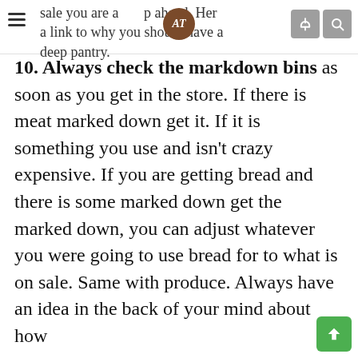sale you are a step ahead. Here is a link to why you should have a deep pantry.
10. Always check the markdown bins as soon as you get in the store. If there is meat marked down get it. If it is something you use and isn't crazy expensive. If you are getting bread and there is some marked down get the marked down, you can adjust whatever you were going to use bread for to what is on sale. Same with produce. Always have an idea in the back of your mind about how